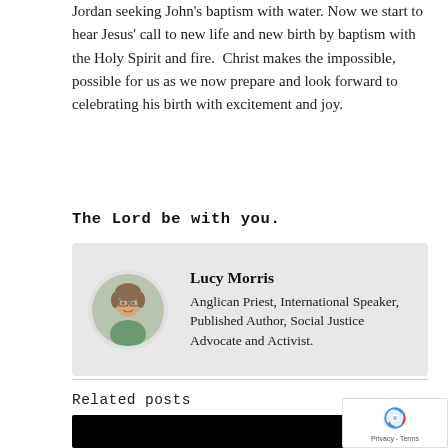Jordan seeking John's baptism with water. Now we start to hear Jesus' call to new life and new birth by baptism with the Holy Spirit and fire.  Christ makes the impossible, possible for us as we now prepare and look forward to celebrating his birth with excitement and joy.
The Lord be with you.
[Figure (photo): Author bio box with circular portrait photo of Lucy Morris and text description]
Related posts
[Figure (photo): Black image thumbnail for related post]